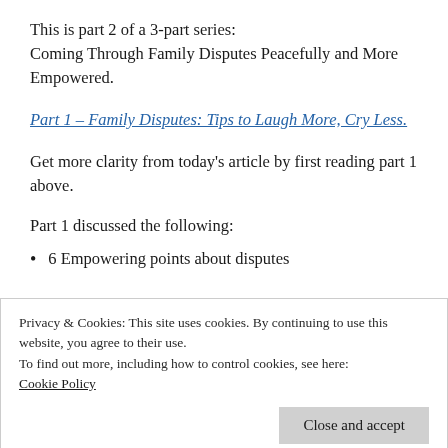This is part 2 of a 3-part series:
Coming Through Family Disputes Peacefully and More Empowered.
Part 1 – Family Disputes: Tips to Laugh More, Cry Less.
Get more clarity from today's article by first reading part 1 above.
Part 1 discussed the following:
6 Empowering points about disputes
Privacy & Cookies: This site uses cookies. By continuing to use this website, you agree to their use.
To find out more, including how to control cookies, see here:
Cookie Policy
Close and accept
To Start Today, Ask Yourself